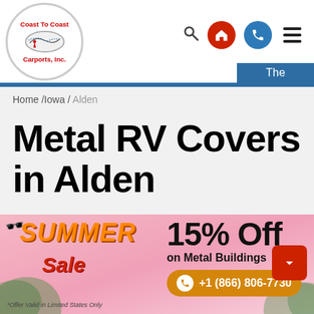Coast To Coast Carports, Inc. — navigation header with logo, search, home, phone, menu icons
The
Home /Iowa / Alden
Metal RV Covers in Alden
Your luxury Recreational Vehicle must be expensive and so it's necessary to save and protect it. Our M… RV
[Figure (infographic): Summer Sale promo banner: SUMMER Sale 15% Off on Metal Buildings +1 (866) 806-7730, *Offer Valid in Limited States Only]